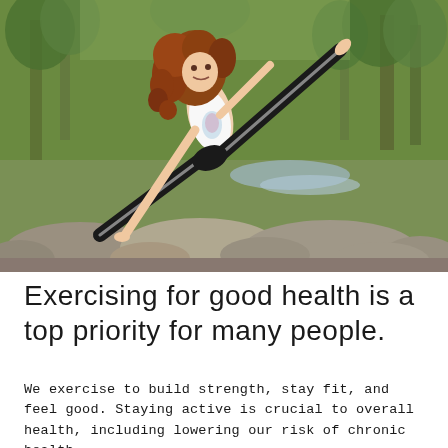[Figure (photo): A woman with long curly auburn hair performing a yoga pose (side angle stretch) outdoors on flat rocks near a stream, wearing a white tank top with colorful print and black leggings. She has one hand on the rock and one leg extended upward. Forest trees and rocks visible in background.]
Exercising for good health is a top priority for many people.
We exercise to build strength, stay fit, and feel good. Staying active is crucial to overall health, including lowering our risk of chronic health